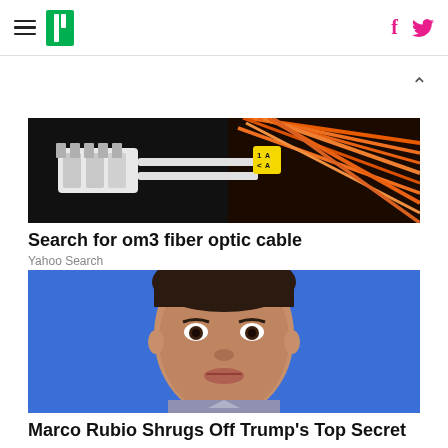HuffPost navigation header with hamburger menu, logo, Facebook and Twitter icons
[Figure (photo): Close-up of orange fiber optic cables with white connectors and a yellow label tag reading '1 A < A']
Search for om3 fiber optic cable
Yahoo Search
[Figure (photo): Close-up portrait of Marco Rubio against a blue background]
Marco Rubio Shrugs Off Trump's Top Secret